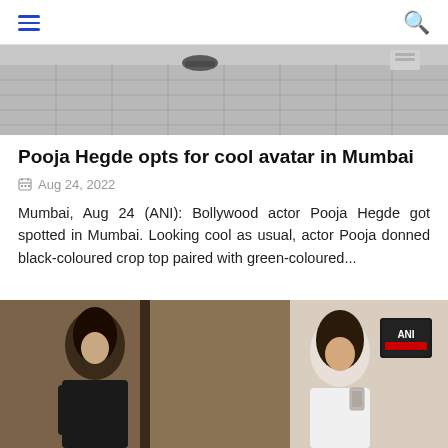Navigation header with hamburger menu and search icon
[Figure (photo): Top portion of an outdoor photo showing a gray tiled floor/pavement with a partial view of feet/sandals on the left side]
Pooja Hegde opts for cool avatar in Mumbai
Aug 24, 2022
Mumbai, Aug 24 (ANI): Bollywood actor Pooja Hegde got spotted in Mumbai. Looking cool as usual, actor Pooja donned black-coloured crop top paired with green-coloured...
[Figure (photo): Bottom photo showing two women with long dark hair standing near a doorway in what appears to be a hotel or building lobby, with an ANI watermark logo in the top right corner]